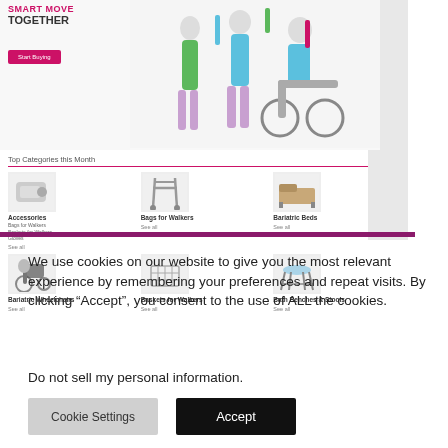[Figure (screenshot): Website screenshot showing a medical/mobility products e-commerce site with hero banner text 'SMART MOVE TOGETHER', a Start Buying button, hero image of elderly people exercising, and Top Categories this Month grid showing: Accessories, Bags for Walkers, Bariatric Beds, Bariatric Wheelchairs, Baskets for Walkers, Bath Benches & Stools]
We use cookies on our website to give you the most relevant experience by remembering your preferences and repeat visits. By clicking “Accept”, you consent to the use of ALL the cookies.
Do not sell my personal information.